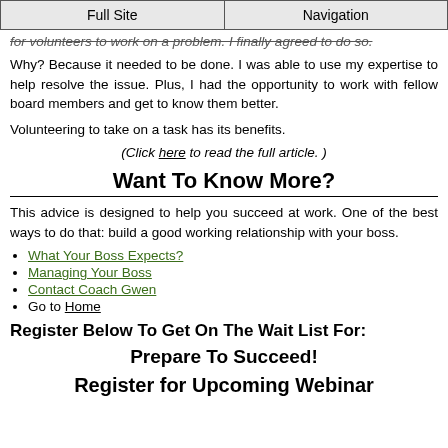Full Site | Navigation
for volunteers to work on a problem. I finally agreed to do so.
Why? Because it needed to be done. I was able to use my expertise to help resolve the issue. Plus, I had the opportunity to work with fellow board members and get to know them better.
Volunteering to take on a task has its benefits.
(Click here to read the full article. )
Want To Know More?
This advice is designed to help you succeed at work. One of the best ways to do that: build a good working relationship with your boss.
What Your Boss Expects?
Managing Your Boss
Contact Coach Gwen
Go to Home
Register Below To Get On The Wait List For:
Prepare To Succeed!
Register for Upcoming Webinar